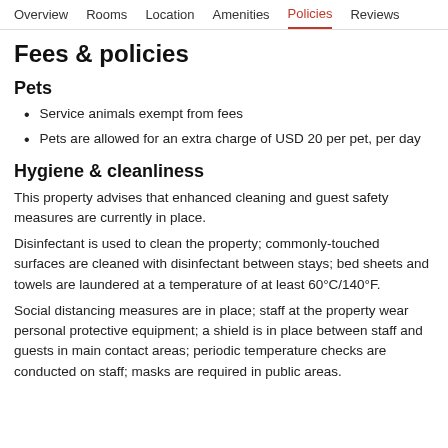Overview  Rooms  Location  Amenities  Policies  Reviews
Fees & policies
Pets
Service animals exempt from fees
Pets are allowed for an extra charge of USD 20 per pet, per day
Hygiene & cleanliness
This property advises that enhanced cleaning and guest safety measures are currently in place.
Disinfectant is used to clean the property; commonly-touched surfaces are cleaned with disinfectant between stays; bed sheets and towels are laundered at a temperature of at least 60°C/140°F.
Social distancing measures are in place; staff at the property wear personal protective equipment; a shield is in place between staff and guests in main contact areas; periodic temperature checks are conducted on staff; masks are required in public areas.